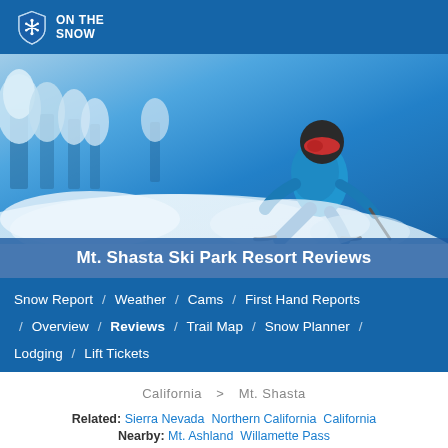ON THE SNOW — navigation bar with logo, search, and menu icons
[Figure (photo): Skier in blue jacket carving through deep powder snow with snow-frosted trees in background, blue sky]
Mt. Shasta Ski Park Resort Reviews
Snow Report / Weather / Cams / First Hand Reports / Overview / Reviews / Trail Map / Snow Planner / Lodging / Lift Tickets
California > Mt. Shasta
Related: Sierra Nevada  Northern California  California
Nearby: Mt. Ashland  Willamette Pass